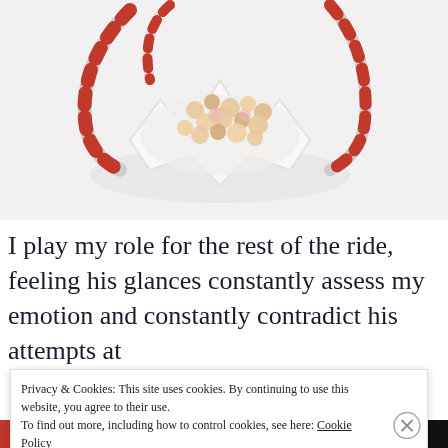[Figure (photo): Overhead photo of a star-shaped white bowl filled with popcorn and candy canes on a white background, with red-and-white striped candy canes visible around the bowl.]
I play my role for the rest of the ride, feeling his glances constantly assess my emotion and constantly contradict his attempts at
Privacy & Cookies: This site uses cookies. By continuing to use this website, you agree to their use. To find out more, including how to control cookies, see here: Cookie Policy
Close and accept